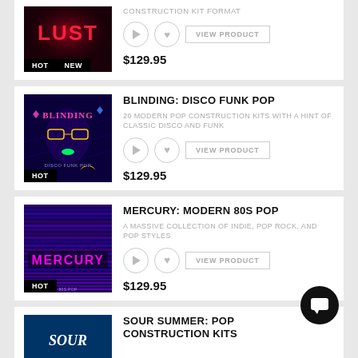[Figure (other): Product card top partial: LUST album art with HOT and NEW badges, construction kit format label, play/heart/view product buttons, price $129.95]
CONSTRUCTION KIT FORMAT
$129.95
[Figure (other): BLINDING: DISCO FUNK POP album art with HOT badge, colorful neon portrait]
BLINDING: DISCO FUNK POP
20 MODERN POP CONSTRUCTION KITS WITH A HINT OF CLASSIC DISCO AND FUNK
$129.95
[Figure (other): MERCURY: MODERN 80S POP album art with HOT badge, horizontal stripe design with MERCURY text]
MERCURY: MODERN 80S POP
A MASSIVE COLLECTION OF INDIE, POP ROCK, AND POP STYLES
$129.95
[Figure (other): SOUR SUMMER: POP CONSTRUCTION KITS album art partial, blue background]
SOUR SUMMER: POP CONSTRUCTION KITS